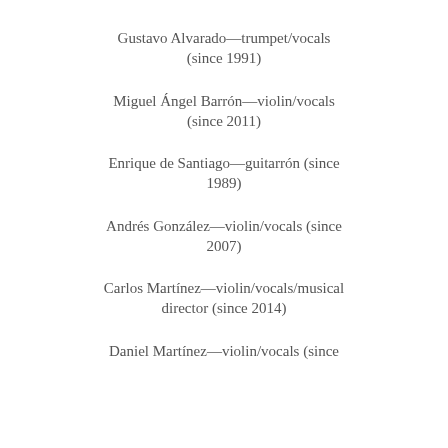Gustavo Alvarado—trumpet/vocals (since 1991)
Miguel Ángel Barrón—violin/vocals (since 2011)
Enrique de Santiago—guitarrón (since 1989)
Andrés González—violin/vocals (since 2007)
Carlos Martínez—violin/vocals/musical director (since 2014)
Daniel Martínez—violin/vocals (since